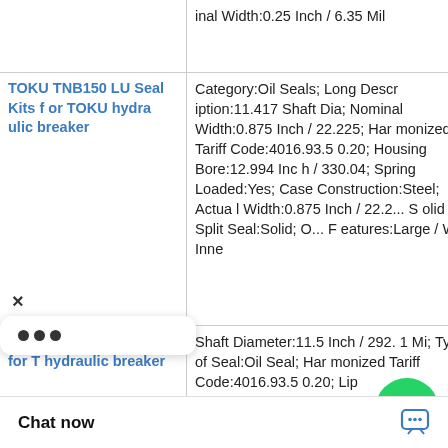| Product | Description |
| --- | --- |
|  | inal Width:0.25 Inch / 6.35 Mil |
| TOKU TNB150 LU Seal Kits for TOKU hydraulic breaker | Category:Oil Seals; Long Description:11.417 Shaft Dia; Nominal Width:0.875 Inch / 22.225; Harmonized Tariff Code:4016.93.50.20; Housing Bore:12.994 Inch / 330.04; Spring Loaded:Yes; Case Construction:Steel; Actual Width:0.875 Inch / 22.2; Solid or Split Seal:Solid; Other Features:Large / With Inne |
| TOKU TNB13A Kits for T hydraulic breaker | Shaft Diameter:11.5 Inch / 292.1 Mi; Type of Seal:Oil Seal; Harmonized Tariff Code:4016.93.50.20; Lip Retainer:Stainless Steel Gart; Noun:Seal; Weight / LBS:5.771; Nominal Width:0.813 Inch / 20.65 M; Actual Width:0.65 M; Housing B / 342.9 Mi; Manu |
[Figure (logo): WhatsApp Online green circle icon with phone handset, with italic bold text 'WhatsApp Online' below]
×
[Figure (screenshot): Popup menu with three dots icon]
Chat now